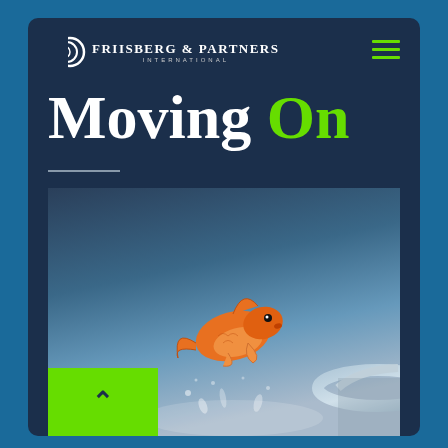[Figure (screenshot): Mobile device screenshot showing Friisberg & Partners International website with 'Moving On' headline and a goldfish jumping out of water photo]
Moving On
[Figure (photo): A goldfish leaping out of water with splashes, against a blue gradient background, with the rim of a glass bowl visible on the right]